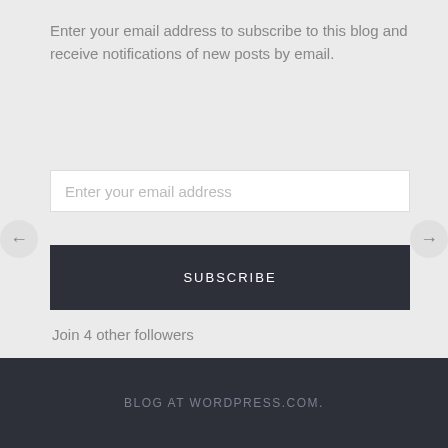Enter your email address to subscribe to this blog and receive notifications of new posts by email.
Enter your email address
SUBSCRIBE
Join 4 other followers
[Figure (logo): Follow BrianChan.us WordPress follow button]
BLOG AT WORDPRESS.COM.